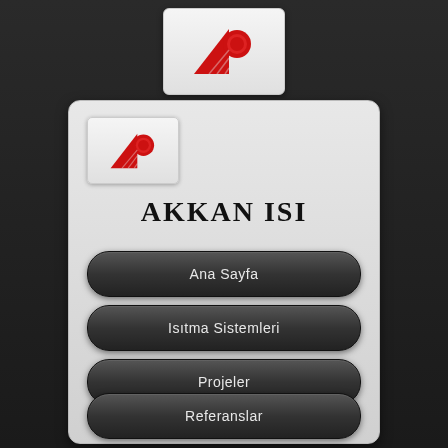[Figure (logo): Akkan Isi company logo: red triangle and red sphere on white background]
[Figure (logo): Akkan Isi company logo (smaller): red triangle and red sphere on white background]
AKKAN ISI
Ana Sayfa
Isıtma Sistemleri
Projeler
Referanslar